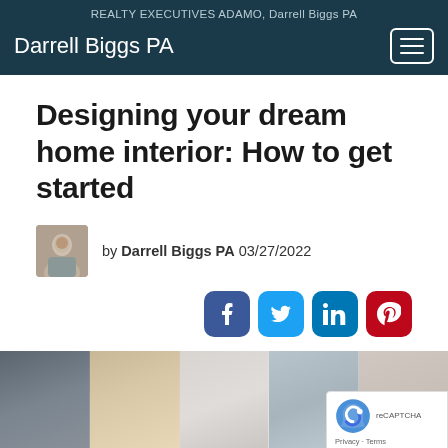REALTY EXECUTIVES ADAMO, Darrell Biggs PA
Darrell Biggs PA
Designing your dream home interior: How to get started
by Darrell Biggs PA 03/27/2022
[Figure (other): Social media share icons for Facebook, Twitter, LinkedIn, and Pinterest]
[Figure (photo): Interior design collage showing home design materials and inspiration, with reCAPTCHA badge overlay]